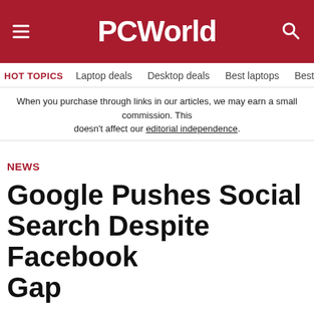PCWorld
HOT TOPICS  Laptop deals  Desktop deals  Best laptops  Best ch
When you purchase through links in our articles, we may earn a small commission. This doesn’t affect our editorial independence.
NEWS
Google Pushes Social Search Despite Facebook Gap
[Figure (infographic): Social sharing icons: Facebook, Twitter, LinkedIn, Reddit, Email, Print]